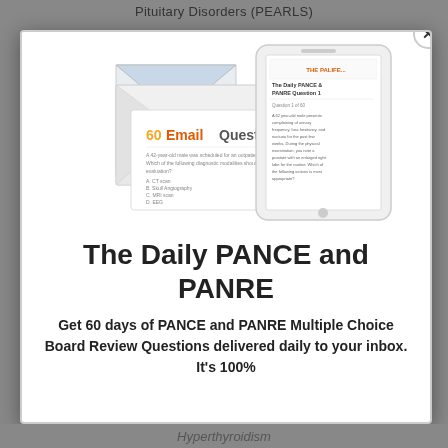Pituitary Disorders (PEARLS)
[Figure (illustration): Illustration of an open envelope with a card showing '60 Email Questions' in orange text, and a smartphone displaying 'The Daily PANCE & PANRE Question 1']
The Daily PANCE and PANRE
Get 60 days of PANCE and PANRE Multiple Choice Board Review Questions delivered daily to your inbox. It's 100%
Hyperthyroidism